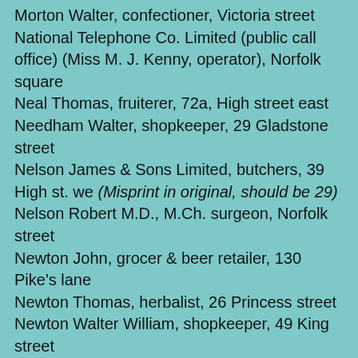Morton Walter, confectioner, Victoria street
National Telephone Co. Limited (public call office) (Miss M. J. Kenny, operator), Norfolk square
Neal Thomas, fruiterer, 72a, High street east
Needham Walter, shopkeeper, 29 Gladstone street
Nelson James & Sons Limited, butchers, 39 High st. we (Misprint in original, should be 29)
Nelson Robert M.D., M.Ch. surgeon, Norfolk street
Newton John, grocer & beer retailer, 130 Pike's lane
Newton Thomas, herbalist, 26 Princess street
Newton Walter William, shopkeeper, 49 King street
Newton William, grocer, 45 Bernard street
Nicol Alex. Campbell L.R.C.P.Lond., M.R.C.S.Eng. surgeon, 93 High street west
Nield John, boot & shoe maker, 20 High street west
Nield John C. market inspector & (Hadfield) water rate collector, North road
Norbury Sarah J. (Mrs.), greengrocer, & post office, Wellgate
Norbury William, Wheat Sheaf P.H. 16 Wellgate
North Derbyshire & North Cheshire Advertiser (Advertising, Printing & Publishing Co. Limited,